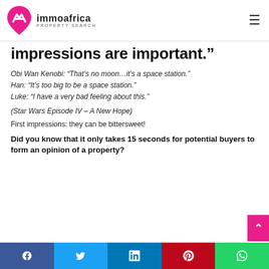immoafrica PROPERTY SEARCH
impressions are important.”
Obi Wan Kenobi: “That’s no moon…it’s a space station.”
Han: “It’s too big to be a space station.”
Luke: “I have a very bad feeling about this.”
(Star Wars Episode IV – A New Hope)
First impressions: they can be bittersweet!
Did you know that it only takes 15 seconds for potential buyers to form an opinion of a property?